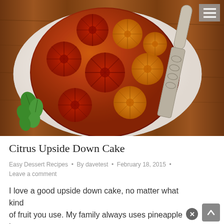[Figure (photo): A citrus upside down cake on a white plate on a wooden board, decorated with sliced blood oranges and oranges on top, with mint leaves on the left side and a decorative silver spatula on the right. A hamburger menu icon is visible in the top right corner.]
Citrus Upside Down Cake
Easy Dessert Recipes • By davetest • February 18, 2015 • Leave a comment
I love a good upside down cake, no matter what kind of fruit you use. My family always uses pineapple but